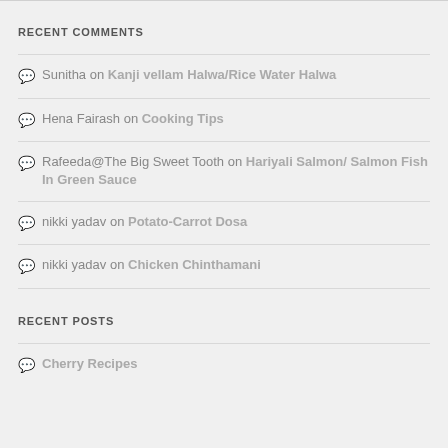RECENT COMMENTS
Sunitha on Kanji vellam Halwa/Rice Water Halwa
Hena Fairash on Cooking Tips
Rafeeda@The Big Sweet Tooth on Hariyali Salmon/ Salmon Fish In Green Sauce
nikki yadav on Potato-Carrot Dosa
nikki yadav on Chicken Chinthamani
RECENT POSTS
Cherry Recipes